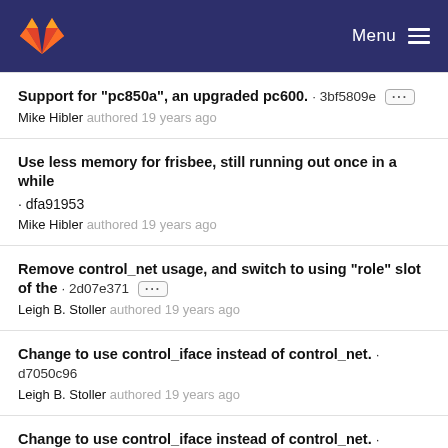GitLab Menu
Support for "pc850a", an upgraded pc600. · 3bf5809e [...] Mike Hibler authored 19 years ago
Use less memory for frisbee, still running out once in a while · dfa91953 Mike Hibler authored 19 years ago
Remove control_net usage, and switch to using "role" slot of the · 2d07e371 [...] Leigh B. Stoller authored 19 years ago
Change to use control_iface instead of control_net. · d7050c96 Leigh B. Stoller authored 19 years ago
Change to use control_iface instead of control_net. · e1e8a72c [...] Leigh B. Stoller authored 19 years ago